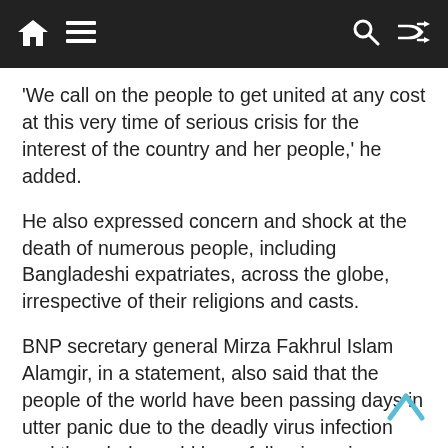[Navigation bar with home, menu, search, and shuffle icons]
‘We call on the people to get united at any cost at this very time of serious crisis for the interest of the country and her people,’ he added.
He also expressed concern and shock at the death of numerous people, including Bangladeshi expatriates, across the globe, irrespective of their religions and casts.
BNP secretary general Mirza Fakhrul Islam Alamgir, in a statement, also said that the people of the world have been passing days in utter panic due to the deadly virus infection and the whole world have fallen in serious uncertainty.
‘The line of newly infection and deaths is expanding every moment. Normal life has come